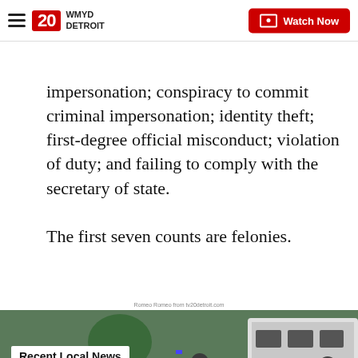WMYD DETROIT — Watch Now
impersonation; conspiracy to commit criminal impersonation; identity theft; first-degree official misconduct; violation of duty; and failing to comply with the secretary of state.
The first seven counts are felonies.
Romeo Romeo from tv20detroit.com
[Figure (screenshot): Video screenshot showing police officers and an ambulance at a scene with a 'Recent Local News' overlay label, and video playback controls including pause, mute, and a next arrow button.]